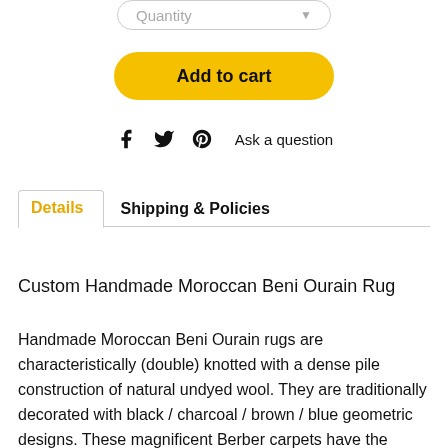[Figure (screenshot): Quantity dropdown selector button with rounded border]
[Figure (screenshot): Add to cart yellow rounded button]
f  ⌇  𝒫  Ask a question
Details   Shipping & Policies
Custom Handmade Moroccan Beni Ourain Rug
Handmade Moroccan Beni Ourain rugs are characteristically (double) knotted with a dense pile construction of natural undyed wool. They are traditionally decorated with black / charcoal / brown / blue geometric designs. These magnificent Berber carpets have the fascinating ability to represent the long history of areditile